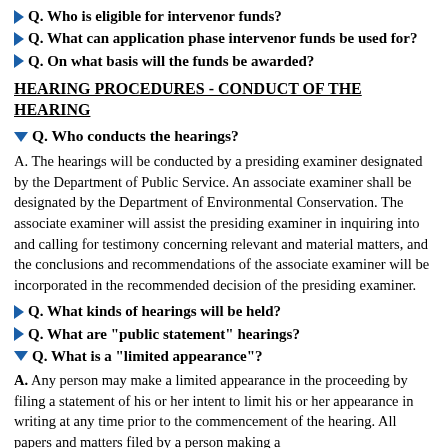Q. Who is eligible for intervenor funds?
Q. What can application phase intervenor funds be used for?
Q. On what basis will the funds be awarded?
HEARING PROCEDURES - CONDUCT OF THE HEARING
Q. Who conducts the hearings?
A. The hearings will be conducted by a presiding examiner designated by the Department of Public Service. An associate examiner shall be designated by the Department of Environmental Conservation. The associate examiner will assist the presiding examiner in inquiring into and calling for testimony concerning relevant and material matters, and the conclusions and recommendations of the associate examiner will be incorporated in the recommended decision of the presiding examiner.
Q. What kinds of hearings will be held?
Q. What are "public statement" hearings?
Q. What is a "limited appearance"?
A. Any person may make a limited appearance in the proceeding by filing a statement of his or her intent to limit his or her appearance in writing at any time prior to the commencement of the hearing. All papers and matters filed by a person making a